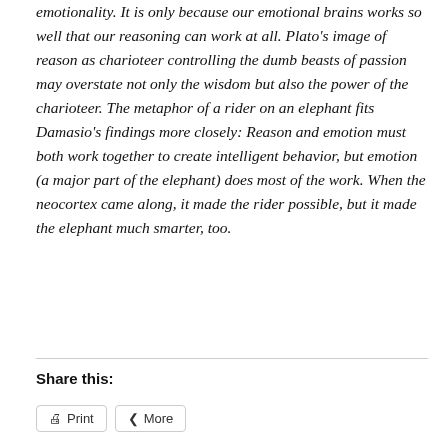emotionality. It is only because our emotional brains works so well that our reasoning can work at all. Plato's image of reason as charioteer controlling the dumb beasts of passion may overstate not only the wisdom but also the power of the charioteer. The metaphor of a rider on an elephant fits Damasio's findings more closely: Reason and emotion must both work together to create intelligent behavior, but emotion (a major part of the elephant) does most of the work. When the neocortex came along, it made the rider possible, but it made the elephant much smarter, too.
Share this: